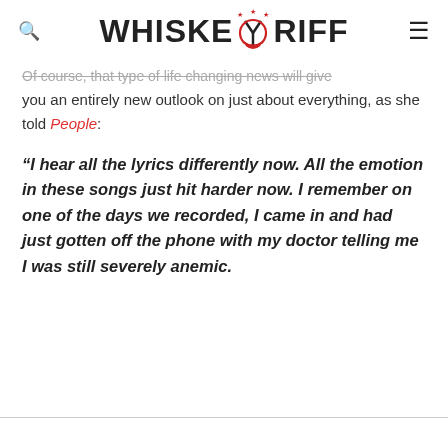WHISKEYRIFF
Of course, that type of life changing news will give you an entirely new outlook on just about everything, as she told People:
“I hear all the lyrics differently now. All the emotion in these songs just hit harder now. I remember on one of the days we recorded, I came in and had just gotten off the phone with my doctor telling me I was still severely anemic.